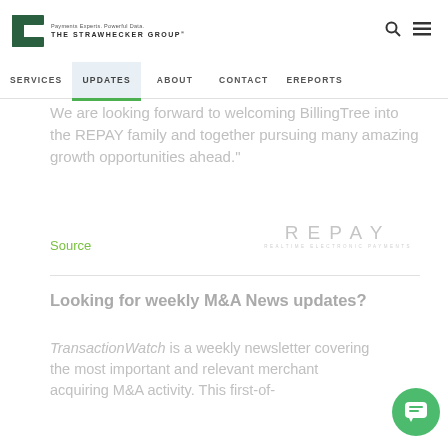TSG – The Strawhecker Group | Payments Experts. Powerful Data.
Navigation: SERVICES | UPDATES | ABOUT | CONTACT | EREPORTS
We are looking forward to welcoming BillingTree into the REPAY family and together pursuing many amazing growth opportunities ahead."
Source
[Figure (logo): REPAY – Realtime Electronic Payments logo]
Looking for weekly M&A News updates?
TransactionWatch is a weekly newsletter covering the most important and relevant merchant acquiring M&A activity. This first-of-